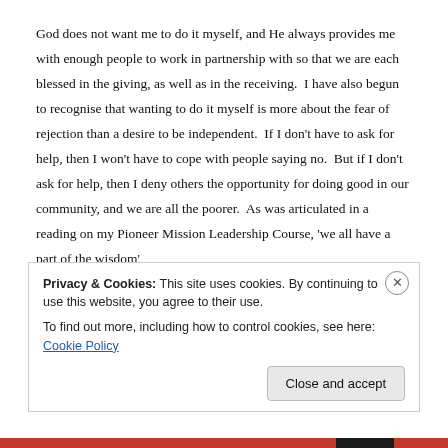God does not want me to do it myself, and He always provides me with enough people to work in partnership with so that we are each blessed in the giving, as well as in the receiving.  I have also begun to recognise that wanting to do it myself is more about the fear of rejection than a desire to be independent.  If I don't have to ask for help, then I won't have to cope with people saying no.  But if I don't ask for help, then I deny others the opportunity for doing good in our community, and we are all the poorer.  As was articulated in a reading on my Pioneer Mission Leadership Course, 'we all have a part of the wisdom'
Privacy & Cookies: This site uses cookies. By continuing to use this website, you agree to their use.
To find out more, including how to control cookies, see here: Cookie Policy
Close and accept